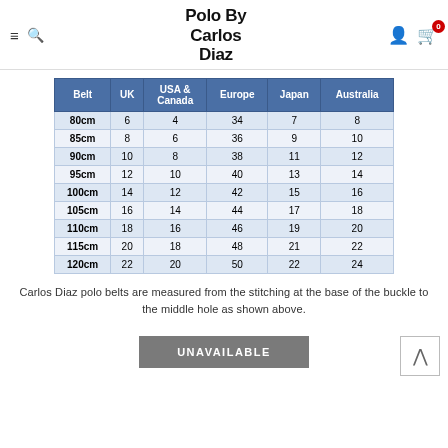Polo By Carlos Diaz
| Belt | UK | USA & Canada | Europe | Japan | Australia |
| --- | --- | --- | --- | --- | --- |
| 80cm | 6 | 4 | 34 | 7 | 8 |
| 85cm | 8 | 6 | 36 | 9 | 10 |
| 90cm | 10 | 8 | 38 | 11 | 12 |
| 95cm | 12 | 10 | 40 | 13 | 14 |
| 100cm | 14 | 12 | 42 | 15 | 16 |
| 105cm | 16 | 14 | 44 | 17 | 18 |
| 110cm | 18 | 16 | 46 | 19 | 20 |
| 115cm | 20 | 18 | 48 | 21 | 22 |
| 120cm | 22 | 20 | 50 | 22 | 24 |
Carlos Diaz polo belts are measured from the stitching at the base of the buckle to the middle hole as shown above.
UNAVAILABLE